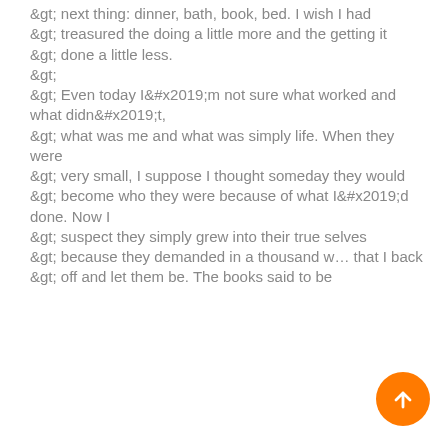&gt; next thing: dinner, bath, book, bed. I wish I had
&gt; treasured the doing a little more and the getting it
&gt; done a little less.
&gt;
&gt; Even today I’m not sure what worked and what didn’t,
&gt; what was me and what was simply life. When they were
&gt; very small, I suppose I thought someday they would
&gt; become who they were because of what I’d done. Now I
&gt; suspect they simply grew into their true selves
&gt; because they demanded in a thousand w… that I back
&gt; off and let them be. The books said to be